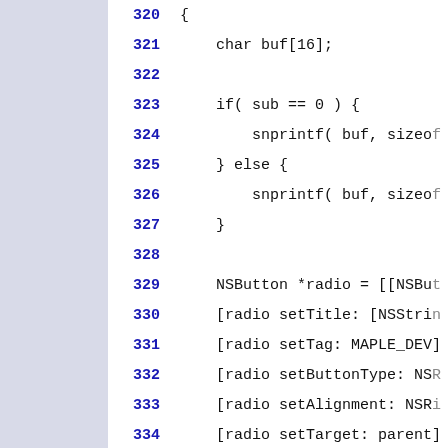320 {
321     char buf[16];
322
323     if( sub == 0 ) {
324         snprintf( buf, sizeof
325     } else {
326         snprintf( buf, sizeof
327     }
328
329     NSButton *radio = [[NSBut
330     [radio setTitle: [NSStrin
331     [radio setTag: MAPLE_DEVI
332     [radio setButtonType: NSR
333     [radio setAlignment: NSRi
334     [radio setTarget: parent]
335     [radio setAction: @select